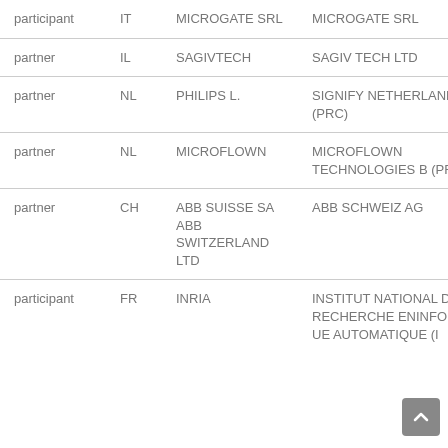| participant | IT | MICROGATE SRL | MICROGATE SRL |
| partner | IL | SAGIVTECH | SAGIV TECH LTD |
| partner | NL | PHILIPS L. | SIGNIFY NETHERLANDS BV (PRC) |
| partner | NL | MICROFLOWN | MICROFLOWN TECHNOLOGIES B (PRC) |
| partner | CH | ABB SUISSE SA ABB SWITZERLAND LTD | ABB SCHWEIZ AG |
| participant | FR | INRIA | INSTITUT NATIONAL DE RECHERCHE ENINFORMATIQUE AUTOMATIQUE (I |